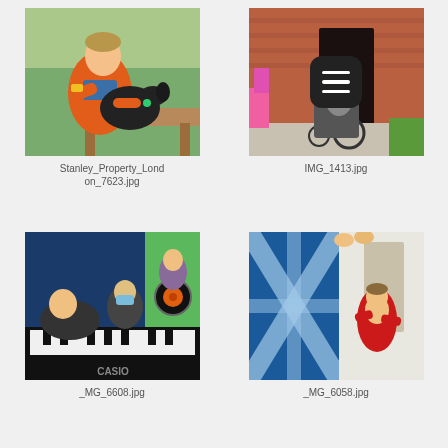[Figure (photo): Man in orange jacket sitting on bench with black Labrador dog outdoors in garden]
Stanley_Property_London_7623.jpg
[Figure (photo): Person in wheelchair with pink hair and equipment outside brick house, with a menu/hamburger icon overlay]
IMG_1413.jpg
[Figure (photo): People playing piano in studio, man in foreground with mask, Casio keyboard visible]
_MG_6608.jpg
[Figure (photo): Man in red t-shirt holding or standing near large blue fabric/flag indoors]
_MG_6058.jpg